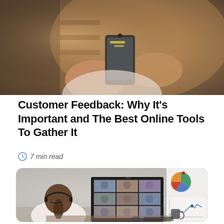[Figure (photo): Close-up photo of hands holding a smartphone, warm brown tones, blurred background with shelves]
Customer Feedback: Why It's Important and The Best Online Tools To Gather It
7 min read
[Figure (photo): Woman with headset sitting at desk in front of a monitor showing a video conference with multiple participants, sticky notes on wall behind her, whiteboard with charts on the right]